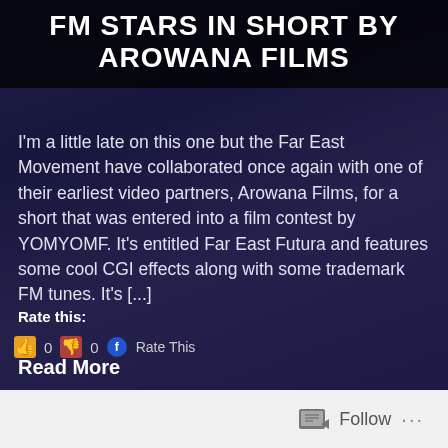FM STARS IN SHORT BY AROWANA FILMS
I'm a little late on this one but the Far East Movement have collaborated once again with one of their earliest video partners, Arowana Films, for a short that was entered into a film contest by YOMYOMF. It's entitled Far East Futura and features some cool CGI effects along with some trademark FM tunes. It's [...]
Rate this:
👍 0 👎 0 🔵 Rate This
Read More
Follow ...